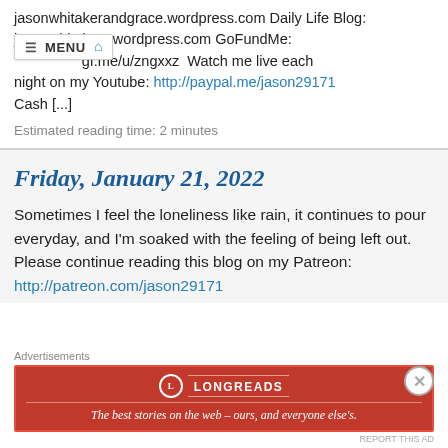jasonwhitakerandgrace.wordpress.com Daily Life Blog: jasonwhitakery.wordpress.com GoFundMe: gf.me/u/zngxxz  Watch me live each night on my Youtube: http://paypal.me/jason29171 Cash [...]
Estimated reading time: 2 minutes
Friday, January 21, 2022
Sometimes I feel the loneliness like rain, it continues to pour everyday, and I'm soaked with the feeling of being left out. Please continue reading this blog on my Patreon: http://patreon.com/jason29171
[Figure (other): Longreads advertisement banner: red background with Longreads logo and tagline 'The best stories on the web – ours, and everyone else's.']